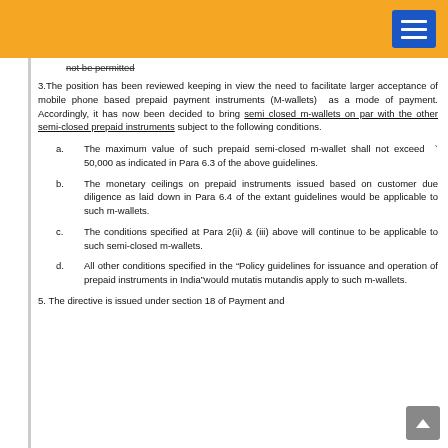Navigation header bar with menu button
not be permitted
3.The position has been reviewed keeping in view the need to facilitate larger acceptance of mobile phone based prepaid payment instruments (M-wallets) as a mode of payment. Accordingly, it has now been decided to bring semi closed m-wallets on par with the other semi-closed prepaid instruments subject to the following conditions.
a. The maximum value of such prepaid semi-closed m-wallet shall not exceed ` 50,000 as indicated in Para 6.3 of the above guidelines.
b. The monetary ceilings on prepaid instruments issued based on customer due diligence as laid down in Para 6.4 of the extant guidelines would be applicable to such m-wallets.
c. The conditions specified at Para 2(ii) & (iii) above will continue to be applicable to such semi-closed m-wallets.
d. All other conditions specified in the “Policy guidelines for issuance and operation of prepaid instruments in India"would mutatis mutandis apply to such m-wallets.
5. The directive is issued under section 18 of Payment and